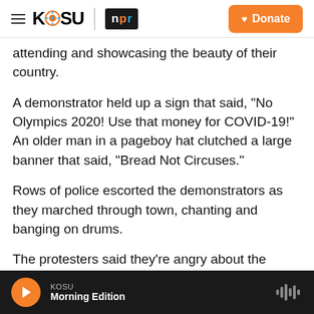KOSU | npr — Donate
attending and showcasing the beauty of their country.
A demonstrator held up a sign that said, "No Olympics 2020! Use that money for COVID-19!" An older man in a pageboy hat clutched a large banner that said, "Bread Not Circuses."
Rows of police escorted the demonstrators as they marched through town, chanting and banging on drums.
The protesters said they're angry about the money and the attention being poured into the Olympics.
KOSU — Morning Edition